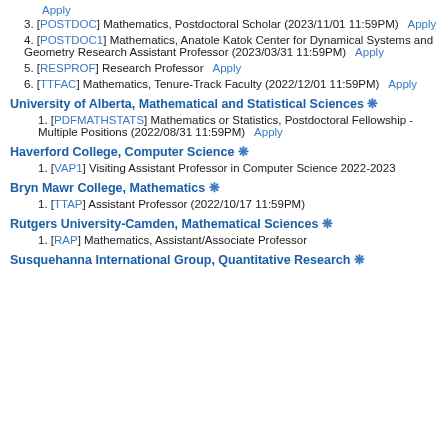Apply
[POSTDOC] Mathematics, Postdoctoral Scholar (2023/11/01 11:59PM)   Apply
[POSTDOC1] Mathematics, Anatole Katok Center for Dynamical Systems and Geometry Research Assistant Professor (2023/03/31 11:59PM)   Apply
[RESPROF] Research Professor   Apply
[TTFAC] Mathematics, Tenure-Track Faculty (2022/12/01 11:59PM)   Apply
University of Alberta, Mathematical and Statistical Sciences
[PDFMATHSTATS] Mathematics or Statistics, Postdoctoral Fellowship - Multiple Positions (2022/08/31 11:59PM)   Apply
Haverford College, Computer Science
[VAP1] Visiting Assistant Professor in Computer Science 2022-2023
Bryn Mawr College, Mathematics
[TTAP] Assistant Professor (2022/10/17 11:59PM)
Rutgers University-Camden, Mathematical Sciences
[RAP] Mathematics, Assistant/Associate Professor
Susquehanna International Group, Quantitative Research